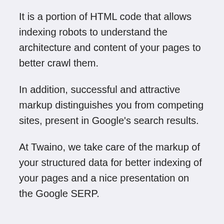It is a portion of HTML code that allows indexing robots to understand the architecture and content of your pages to better crawl them.
In addition, successful and attractive markup distinguishes you from competing sites, present in Google's search results.
At Twaino, we take care of the markup of your structured data for better indexing of your pages and a nice presentation on the Google SERP.
BOOK A MEETING NOW